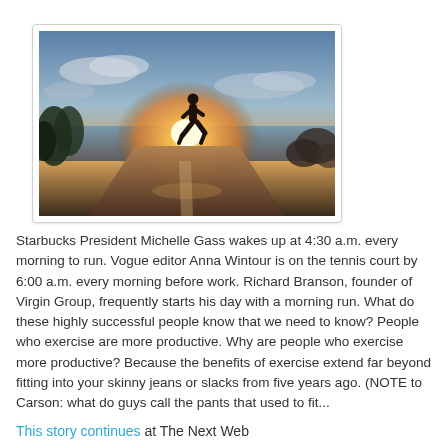[Figure (photo): Person running on a road at sunset/sunrise with silhouette against bright glowing sun and cloudy sky, coastal road with water visible in background]
Starbucks President Michelle Gass wakes up at 4:30 a.m. every morning to run. Vogue editor Anna Wintour is on the tennis court by 6:00 a.m. every morning before work. Richard Branson, founder of Virgin Group, frequently starts his day with a morning run. What do these highly successful people know that we need to know? People who exercise are more productive. Why are people who exercise more productive? Because the benefits of exercise extend far beyond fitting into your skinny jeans or slacks from five years ago. (NOTE to Carson: what do guys call the pants that used to fit...
This story continues at The Next Web
from The Next Web http://ift.tt/1J6iSo...